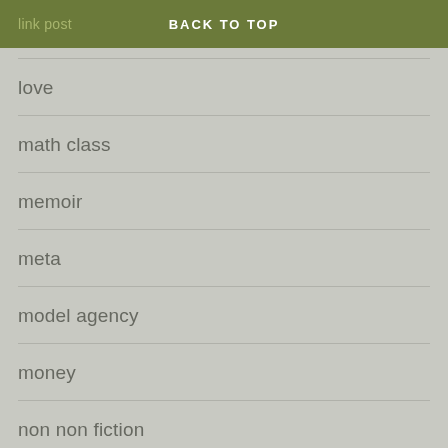link post  BACK TO TOP
love
math class
memoir
meta
model agency
money
non non fiction
policy and economics